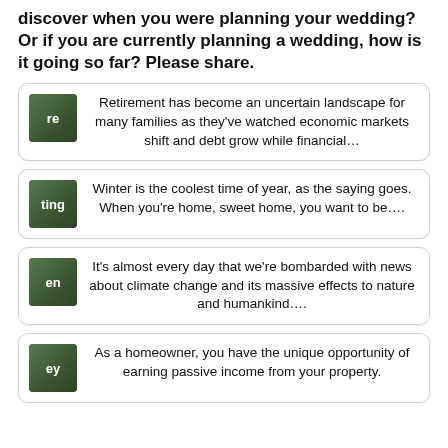discover when you were planning your wedding? Or if you are currently planning a wedding, how is it going so far? Please share.
Retirement has become an uncertain landscape for many families as they've watched economic markets shift and debt grow while financial…
Winter is the coolest time of year, as the saying goes. When you're home, sweet home, you want to be….
It's almost every day that we're bombarded with news about climate change and its massive effects to nature and humankind….
As a homeowner, you have the unique opportunity of earning passive income from your property.